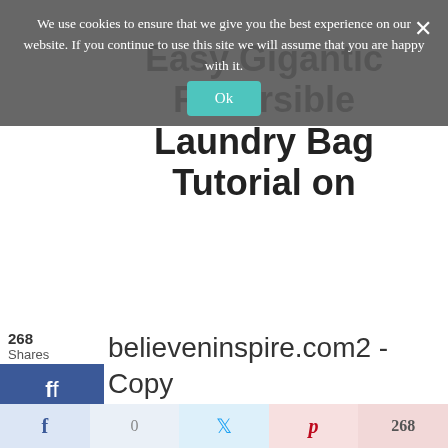We use cookies to ensure that we give you the best experience on our website. If you continue to use this site we will assume that you are happy with it. Ok
Easy Gigantic Reversible Laundry Bag Tutorial on believeninspire.com2 - Copy
268 Shares
f 0
Twitter
p 268
Repeat these steps for the back side of the main fabric.
Next, take your lining
f 0 Twitter p 268